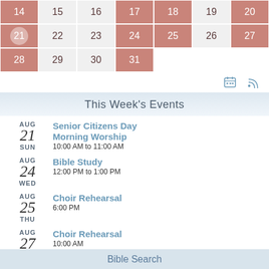[Figure (other): Mini calendar showing August dates: row with 14(pink),15,16,17(pink),18(pink),19,20(pink); row with 21(selected/circled),22,23,24(pink),25(pink),26,27(pink); row with 28(pink),29,30,31(pink)]
This Week's Events
AUG 21 SUN - Senior Citizens Day
AUG 21 SUN - Morning Worship - 10:00 AM to 11:00 AM
AUG 24 WED - Bible Study - 12:00 PM to 1:00 PM
AUG 25 THU - Choir Rehearsal - 6:00 PM
AUG 27 SAT - Choir Rehearsal - 10:00 AM
Bible Search